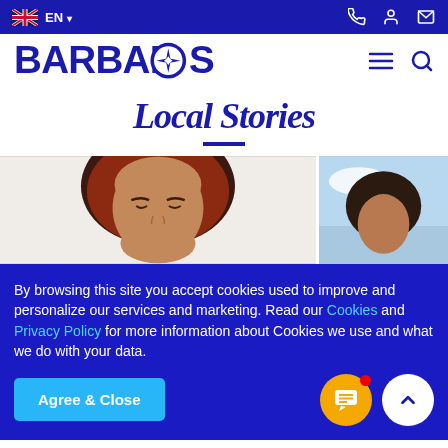EN - Barbados tourism website navigation bar with flag, language selector, phone, account, mail icons
[Figure (logo): BARBADOS tourism logo in dark blue with compass rose in the O, plus hamburger menu and search icons]
Local Stories
[Figure (photo): Two partial photos: left shows a smiling woman with reddish-brown hair against white background; right shows partial view of a person against blue sky]
By browsing this site you accept cookies used to improve and personalize our services and marketing. Read our Cookies and Privacy Policy for more information about Cookies we use and what we do with your data.
Agree & Close